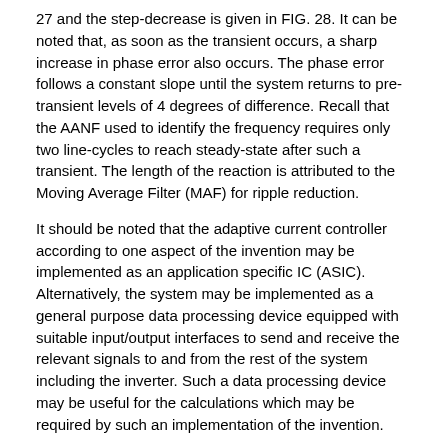27 and the step-decrease is given in FIG. 28. It can be noted that, as soon as the transient occurs, a sharp increase in phase error also occurs. The phase error follows a constant slope until the system returns to pre-transient levels of 4 degrees of difference. Recall that the AANF used to identify the frequency requires only two line-cycles to reach steady-state after such a transient. The length of the reaction is attributed to the Moving Average Filter (MAF) for ripple reduction.
It should be noted that the adaptive current controller according to one aspect of the invention may be implemented as an application specific IC (ASIC). Alternatively, the system may be implemented as a general purpose data processing device equipped with suitable input/output interfaces to send and receive the relevant signals to and from the rest of the system including the inverter. Such a data processing device may be useful for the calculations which may be required by such an implementation of the invention.
The embodiments of the invention may be executed by a computer processor or similar device programmed in the